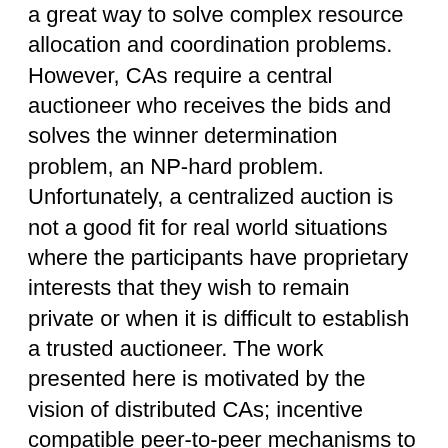a great way to solve complex resource allocation and coordination problems. However, CAs require a central auctioneer who receives the bids and solves the winner determination problem, an NP-hard problem. Unfortunately, a centralized auction is not a good fit for real world situations where the participants have proprietary interests that they wish to remain private or when it is difficult to establish a trusted auctioneer. The work presented here is motivated by the vision of distributed CAs; incentive compatible peer-to-peer mechanisms to solve the allocation problem, where bidders carry out the needed computation. For such a system to exist, both a protocol that distributes the computational task amongst the bidders and strategies for bidding behavior are needed. PAUSE is combinatorial auction mechanism that naturally distributes the